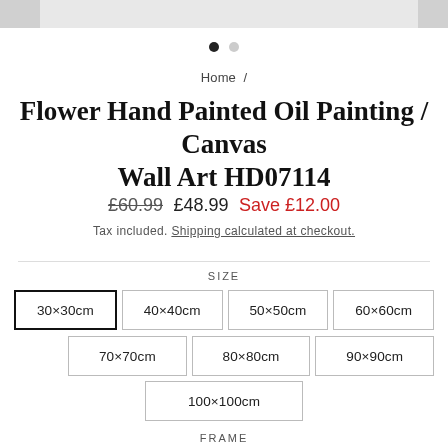[Figure (other): Product image carousel with two navigation dots — first dot filled (active), second dot empty]
Home /
Flower Hand Painted Oil Painting / Canvas Wall Art HD07114
£60.99  £48.99  Save £12.00
Tax included. Shipping calculated at checkout.
SIZE
30×30cm (selected)
40×40cm
50×50cm
60×60cm
70×70cm
80×80cm
90×90cm
100×100cm
FRAME